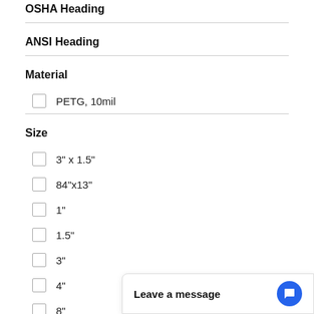OSHA Heading
ANSI Heading
Material
PETG, 10mil
Size
3" x 1.5"
84"x13"
1"
1.5"
3"
4"
8"
Leave a message